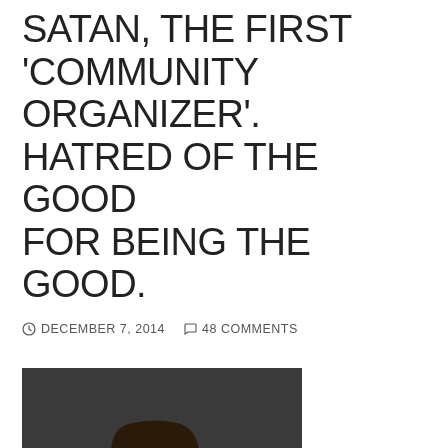SATAN, THE FIRST 'COMMUNITY ORGANIZER'. HATRED OF THE GOOD FOR BEING THE GOOD.
DECEMBER 7, 2014   48 COMMENTS
[Figure (photo): Woman with glasses raising her fist and smiling at the camera]
Anti-American
strategist Saul Alinsky, leftist activist, mentor of Obama and Hillary Clinton, and author of Rules for Radicals. a book dedicated to Lucifer, the first community organizer, sets forth